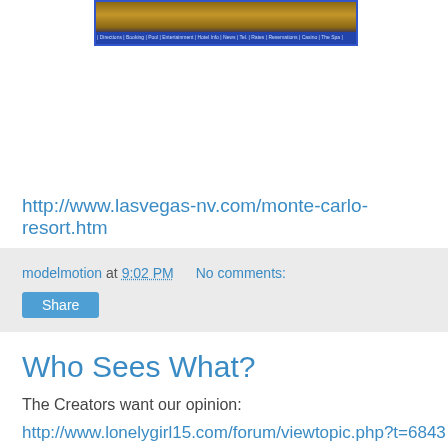[Figure (photo): Image with golden/brown tones and a dark blue banner at the bottom with text]
http://www.lasvegas-nv.com/monte-carlo-resort.htm
modelmotion at 9:02 PM   No comments:
Share
Who Sees What?
The Creators want our opinion:
http://www.lonelygirl15.com/forum/viewtopic.php?t=6843
modelmotion at 7:34 PM   No comments:
Share